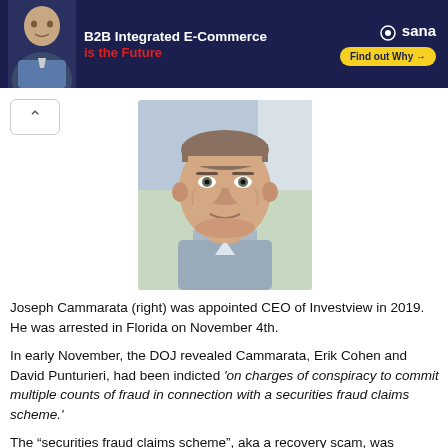[Figure (infographic): Dark navy advertisement banner for Sana B2B Integrated E-Commerce with a man's photo on the left, bold white text 'B2B Integrated E-Commerce is the Future' in red, Sana logo top right, and yellow 'Find out Why' button.]
[Figure (photo): Headshot of Joseph Cammarata, a middle-aged man with short hair, wearing a light blue shirt, photographed outdoors.]
Joseph Cammarata (right) was appointed CEO of Investview in 2019. He was arrested in Florida on November 4th.
In early November, the DOJ revealed Cammarata, Erik Cohen and David Punturieri, had been indicted 'on charges of conspiracy to commit multiple counts of fraud in connection with a securities fraud claims scheme.'
The “securities fraud claims scheme”, aka a recovery scam, was perpetrated through Alpha Plus Recovery.
Alpha Plus Recovery ran from 2014 to January 2021.